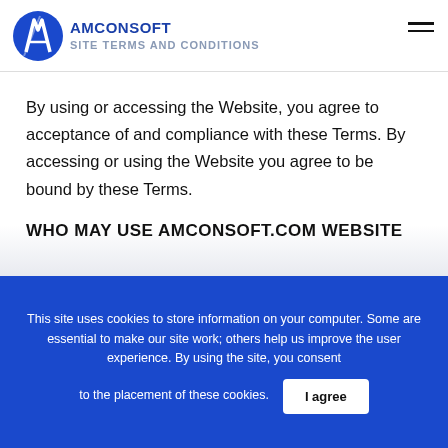AMCONSOFT SITE TERMS AND CONDITIONS
By using or accessing the Website, you agree to acceptance of and compliance with these Terms. By accessing or using the Website you agree to be bound by these Terms.
WHO MAY USE AMCONSOFT.COM WEBSITE
This site uses cookies to store information on your computer. Some are essential to make our site work; others help us improve the user experience. By using the site, you consent to the placement of these cookies. I agree